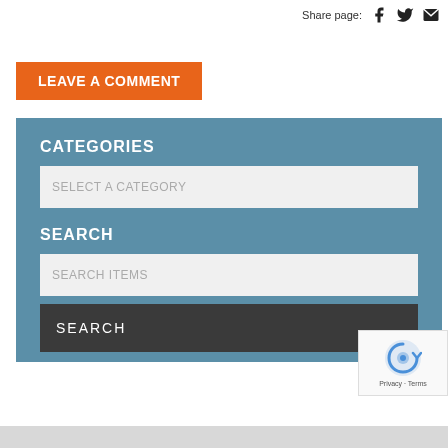Share page:
[Figure (other): Share icons: Facebook, Twitter, Email]
LEAVE A COMMENT
CATEGORIES
SELECT A CATEGORY
SEARCH
SEARCH ITEMS
SEARCH
[Figure (other): reCAPTCHA badge with Privacy and Terms text]